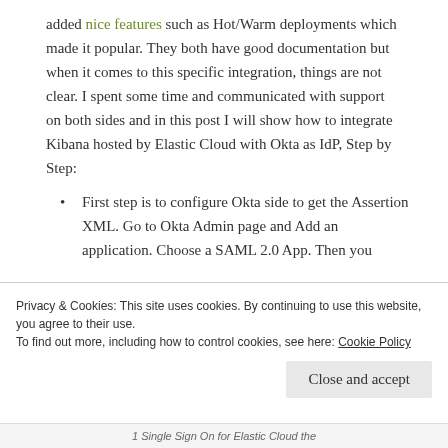added nice features such as Hot/Warm deployments which made it popular. They both have good documentation but when it comes to this specific integration, things are not clear. I spent some time and communicated with support on both sides and in this post I will show how to integrate Kibana hosted by Elastic Cloud with Okta as IdP, Step by Step:
First step is to configure Okta side to get the Assertion XML. Go to Okta Admin page and Add an application. Choose a SAML 2.0 App. Then you
Privacy & Cookies: This site uses cookies. By continuing to use this website, you agree to their use. To find out more, including how to control cookies, see here: Cookie Policy
1 Single Sign On for Elastic Cloud the